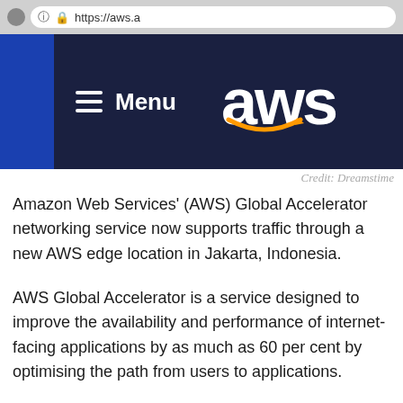[Figure (screenshot): Photo of an AWS website homepage shown in a browser, with dark navy background, hamburger menu, 'Menu' text, and the AWS logo with orange smile, plus browser chrome showing https://aws.a URL]
Credit: Dreamstime
Amazon Web Services' (AWS) Global Accelerator networking service now supports traffic through a new AWS edge location in Jakarta, Indonesia.
AWS Global Accelerator is a service designed to improve the availability and performance of internet-facing applications by as much as 60 per cent by optimising the path from users to applications.